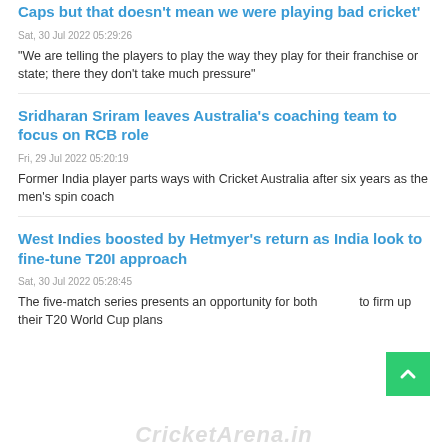Caps but that doesn't mean we were playing bad cricket'
Sat, 30 Jul 2022 05:29:26
"We are telling the players to play the way they play for their franchise or state; there they don't take much pressure"
Sridharan Sriram leaves Australia's coaching team to focus on RCB role
Fri, 29 Jul 2022 05:20:19
Former India player parts ways with Cricket Australia after six years as the men's spin coach
West Indies boosted by Hetmyer's return as India look to fine-tune T20I approach
Sat, 30 Jul 2022 05:28:45
The five-match series presents an opportunity for both to firm up their T20 World Cup plans